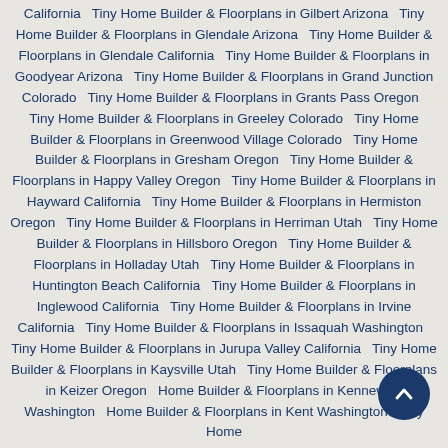California   Tiny Home Builder & Floorplans in Gilbert Arizona   Tiny Home Builder & Floorplans in Glendale Arizona   Tiny Home Builder & Floorplans in Glendale California   Tiny Home Builder & Floorplans in Goodyear Arizona   Tiny Home Builder & Floorplans in Grand Junction Colorado   Tiny Home Builder & Floorplans in Grants Pass Oregon   Tiny Home Builder & Floorplans in Greeley Colorado   Tiny Home Builder & Floorplans in Greenwood Village Colorado   Tiny Home Builder & Floorplans in Gresham Oregon   Tiny Home Builder & Floorplans in Happy Valley Oregon   Tiny Home Builder & Floorplans in Hayward California   Tiny Home Builder & Floorplans in Hermiston Oregon   Tiny Home Builder & Floorplans in Herriman Utah   Tiny Home Builder & Floorplans in Hillsboro Oregon   Tiny Home Builder & Floorplans in Holladay Utah   Tiny Home Builder & Floorplans in Huntington Beach California   Tiny Home Builder & Floorplans in Inglewood California   Tiny Home Builder & Floorplans in Irvine California   Tiny Home Builder & Floorplans in Issaquah Washington   Tiny Home Builder & Floorplans in Jurupa Valley California   Tiny Home Builder & Floorplans in Kaysville Utah   Tiny Home Builder & Floorplans in Keizer Oregon   Home Builder & Floorplans in Kennewick Washington   Home Builder & Floorplans in Kent Washington   Tiny Home